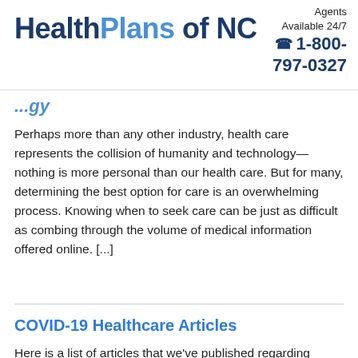HealthPlans of NC — Agents Available 24/7 ☎ 1-800-797-0327
[partial title in blue/italic]
Perhaps more than any other industry, health care represents the collision of humanity and technology—nothing is more personal than our health care. But for many, determining the best option for care is an overwhelming process. Knowing when to seek care can be just as difficult as combing through the volume of medical information offered online. [...]
COVID-19 Healthcare Articles
Here is a list of articles that we've published regarding COVID-19 since the pandemic began in 2020 to help you to synthesize how to go about protecting yourself and your family. Reimbursement available for over-the-counter